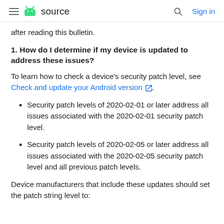≡ source | 🔍 Sign in
after reading this bulletin.
1. How do I determine if my device is updated to address these issues?
To learn how to check a device's security patch level, see Check and update your Android version.
Security patch levels of 2020-02-01 or later address all issues associated with the 2020-02-01 security patch level.
Security patch levels of 2020-02-05 or later address all issues associated with the 2020-02-05 security patch level and all previous patch levels.
Device manufacturers that include these updates should set the patch string level to: